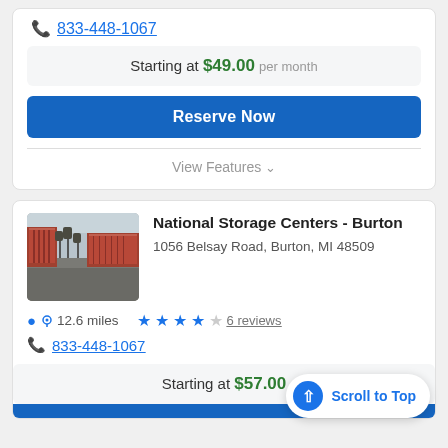833-448-1067
Starting at $49.00 per month
Reserve Now
View Features
[Figure (photo): Exterior photo of storage facility showing rows of red roll-up unit doors along a paved road with bare trees and overcast sky]
National Storage Centers - Burton
1056 Belsay Road, Burton, MI 48509
12.6 miles
6 reviews
833-448-1067
Starting at $57.00
Scroll to Top